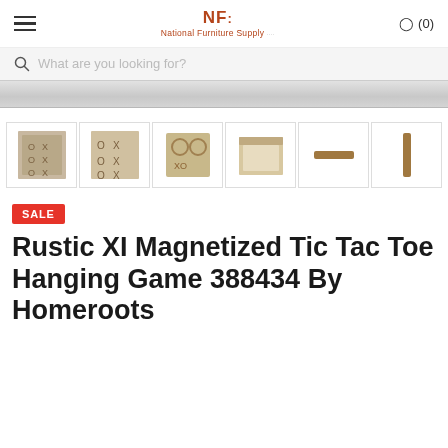National Furniture Supply — NF — Cart (0)
What are you looking for?
[Figure (screenshot): Partial product main image strip — cropped silver/grey horizontal band]
[Figure (photo): Six product thumbnail images of rustic tic tac toe hanging game: front pattern view, close-up pattern, angled view, open box view, horizontal piece, vertical piece]
SALE
Rustic XI Magnetized Tic Tac Toe Hanging Game 388434 By Homeroots